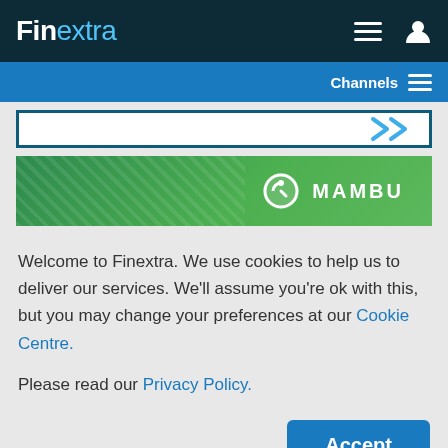Finextra
[Figure (screenshot): Finextra website top navigation bar with logo, hamburger menu icon, and user icon on dark teal background, followed by a blue Channels bar with hamburger icon]
[Figure (screenshot): Partial white banner with teal border showing blue chevron arrow, and a Mambu green banner advertisement with diagonal pattern and Mambu logo]
Welcome to Finextra. We use cookies to help us to deliver our services. We'll assume you're ok with this, but you may change your preferences at our Cookie Centre. Please read our Privacy Policy.
Accept